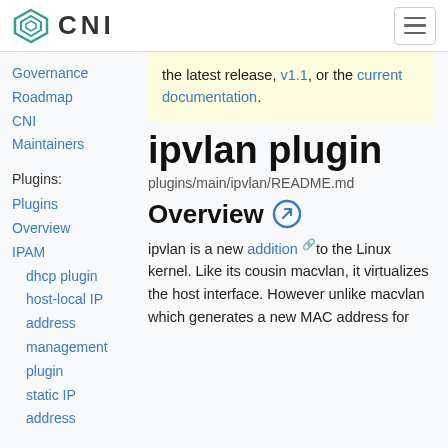CNI
the latest release, v1.1, or the current documentation.
Governance
Roadmap
CNI Maintainers
Plugins:
Plugins
Overview
IPAM
dhcp plugin
host-local IP address management plugin
static IP address
ipvlan plugin
plugins/main/ipvlan/README.md
Overview
ipvlan is a new addition to the Linux kernel. Like its cousin macvlan, it virtualizes the host interface. However unlike macvlan which generates a new MAC address for